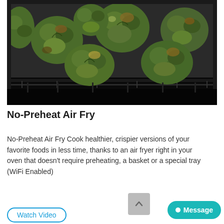[Figure (photo): Close-up photo of roasted Brussels sprouts on a dark baking tray inside an oven, showing charred and crispy green vegetables]
No-Preheat Air Fry
No-Preheat Air Fry Cook healthier, crispier versions of your favorite foods in less time, thanks to an air fryer right in your oven that doesn't require preheating, a basket or a special tray (WiFi Enabled)
Watch Video